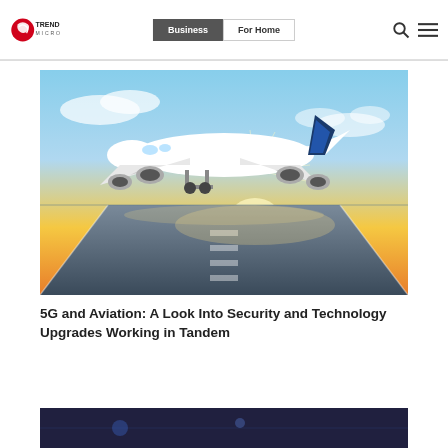Trend Micro — Business | For Home
[Figure (photo): A large commercial airplane taking off from a runway at sunset, viewed from runway level with sunlight bursting behind the aircraft.]
5G and Aviation: A Look Into Security and Technology Upgrades Working in Tandem
[Figure (photo): Partial view of another article image at the bottom of the page, appears to show a dark technology-related scene.]